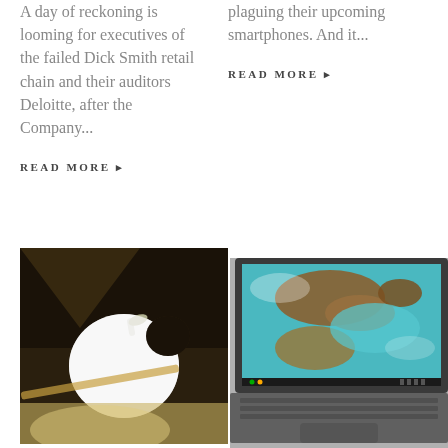A day of reckoning is looming for executives of the failed Dick Smith retail chain and their auditors Deloitte, after the Company...
READ MORE ▶
plaguing their upcoming smartphones. And it...
READ MORE ▶
[Figure (photo): Close-up photo of a glowing Apple logo sign, illuminated white apple shape against a dark background with bokeh]
[Figure (photo): Photo of a laptop computer (Chromebook) showing a satellite or aerial landscape image on the screen, dark grey body with keyboard visible]